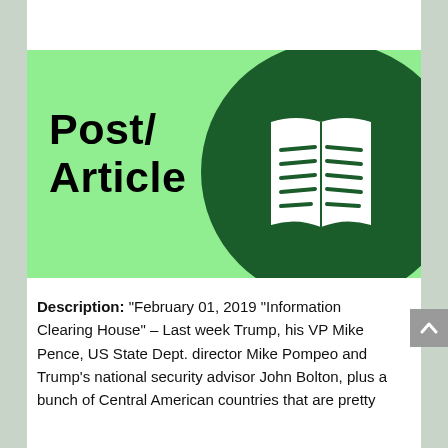[Figure (illustration): Green background banner image with bold black text reading 'Post/ Article' on the left, and a dark green circle containing a white open book icon on the right.]
Description: “February 01, 2019 “Information Clearing House” – Last week Trump, his VP Mike Pence, US State Dept. director Mike Pompeo and Trump’s national security advisor John Bolton, plus a bunch of Central American countries that are pretty